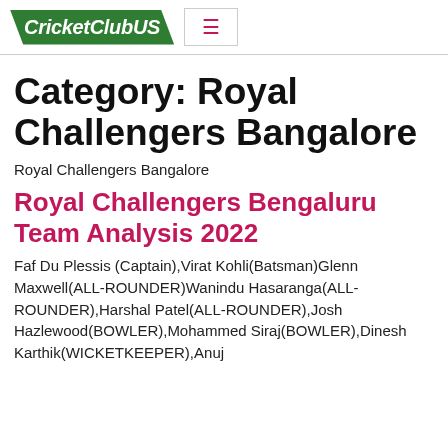CricketClubUS
Category: Royal Challengers Bangalore
Royal Challengers Bangalore
Royal Challengers Bengaluru Team Analysis 2022
Faf Du Plessis (Captain),Virat Kohli(Batsman)Glenn Maxwell(ALL-ROUNDER)Wanindu Hasaranga(ALL-ROUNDER),Harshal Patel(ALL-ROUNDER),Josh Hazlewood(BOWLER),Mohammed Siraj(BOWLER),Dinesh Karthik(WICKETKEEPER),Anuj